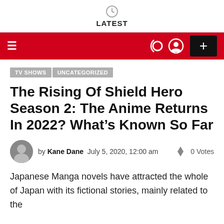LATEST
TV SHOWS  UNCATEGORIZED
The Rising Of Shield Hero Season 2: The Anime Returns In 2022? What's Known So Far
by Kane Dane  July 5, 2020, 12:00 am  0 Votes
Japanese Manga novels have attracted the whole of Japan with its fictional stories, mainly related to the